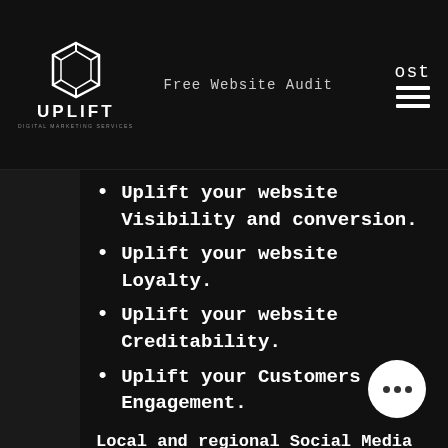UPLIFT DIGITAL MARKETING SERVICES | Free Website Audit | ost
Uplift your website Visibility and conversion.
Uplift your website Loyalty.
Uplift your website Creditability.
Uplift your Customers Engagement.
Local and regional Social Media Marketing Services
With the huge number of users, Social media platforms are the media for companies to gain strong brand followership and reach out to